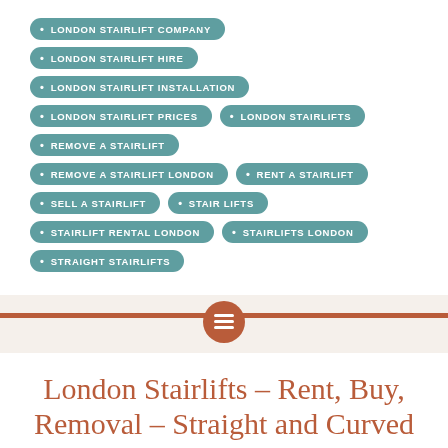LONDON STAIRLIFT COMPANY
LONDON STAIRLIFT HIRE
LONDON STAIRLIFT INSTALLATION
LONDON STAIRLIFT PRICES
LONDON STAIRLIFTS
REMOVE A STAIRLIFT
REMOVE A STAIRLIFT LONDON
RENT A STAIRLIFT
SELL A STAIRLIFT
STAIR LIFTS
STAIRLIFT RENTAL LONDON
STAIRLIFTS LONDON
STRAIGHT STAIRLIFTS
London Stairlifts – Rent, Buy, Removal – Straight and Curved